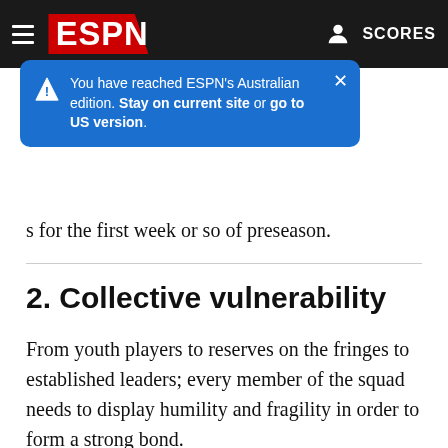[Figure (screenshot): ESPN website navigation bar with hamburger menu, ESPN logo, and SCORES button on dark background]
[Figure (infographic): Blue popup tooltip reading: You have reached ESPN's Australian edition. Stay on current site or go to US version. With close (X) button.]
s for the first week or so of preseason.
2. Collective vulnerability
From youth players to reserves on the fringes to established leaders; every member of the squad needs to display humility and fragility in order to form a strong bond.
"Sharing vulnerability with each other through stories of bad injuries, bad losses, how you were brought up, traumas in your life that you've been through. Admitting that you need help with certain things."